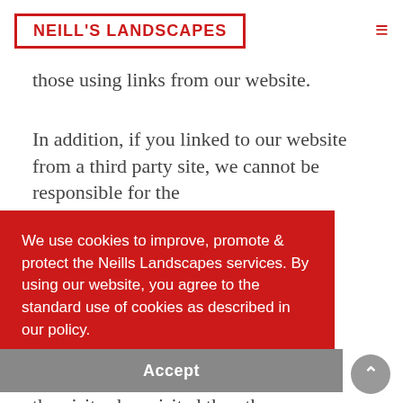NEILL'S LANDSCAPES
those using links from our website.
In addition, if you linked to our website from a third party site, we cannot be responsible for the
We use cookies to improve, promote & protect the Neills Landscapes services. By using our website, you agree to the standard use of cookies as described in our policy. Cookie Policy
Accept
behave in the same way as if the visitor has visited the other